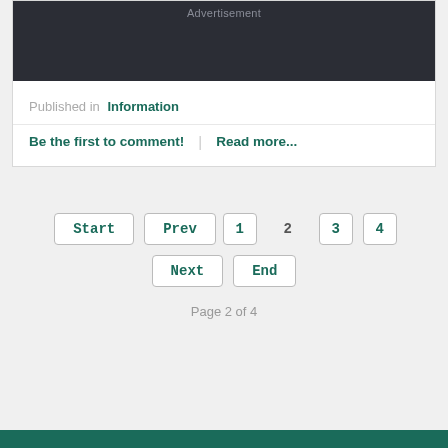[Figure (other): Dark advertisement banner block with 'Advertisement' text in gray]
Published in  Information
Be the first to comment!  |  Read more...
Start
Prev
1
2
3
4
Next
End
Page 2 of 4